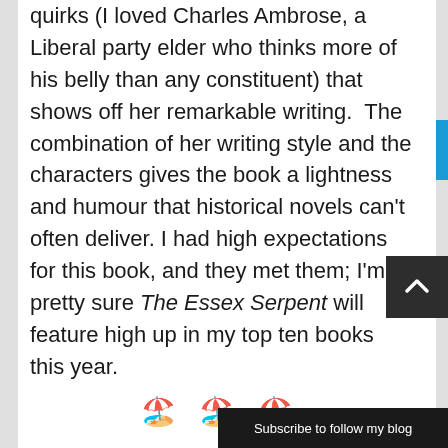quirks (I loved Charles Ambrose, a Liberal party elder who thinks more of his belly than any constituent) that shows off her remarkable writing.  The combination of her writing style and the characters gives the book a lightness and humour that historical novels can't often deliver. I had high expectations for this book, and they met them; I'm pretty sure The Essex Serpent will feature high up in my top ten books this year.
[Figure (illustration): Three beach umbrella / tropical island emoji arranged horizontally as a divider]
4. Finally, I turned to The Hen Who Dreamed She Could Fly by Sun-mi Hwang. I quite comfortably read this whole novella on the 2.5 hour flight home
Subscribe to follow my blog